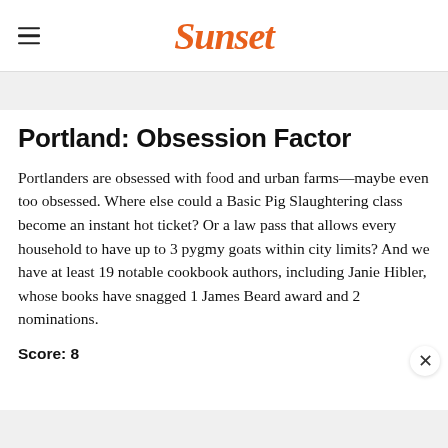Sunset
Portland: Obsession Factor
Portlanders are obsessed with food and urban farms—maybe even too obsessed. Where else could a Basic Pig Slaughtering class become an instant hot ticket? Or a law pass that allows every household to have up to 3 pygmy goats within city limits? And we have at least 19 notable cookbook authors, including Janie Hibler, whose books have snagged 1 James Beard award and 2 nominations.
Score: 8